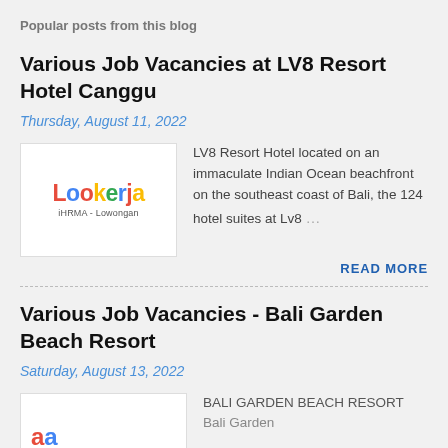Popular posts from this blog
Various Job Vacancies at LV8 Resort Hotel Canggu
Thursday, August 11, 2022
[Figure (logo): Lookerja logo with colorful letters and subtitle iHRMA - Lowongan]
LV8 Resort Hotel located on an immaculate Indian Ocean beachfront on the southeast coast of Bali, the 124 hotel suites at Lv8 ...
READ MORE
Various Job Vacancies - Bali Garden Beach Resort
Saturday, August 13, 2022
[Figure (logo): Partial Bali Garden Beach Resort logo with colorful letters]
BALI GARDEN BEACH RESORT Bali Garden